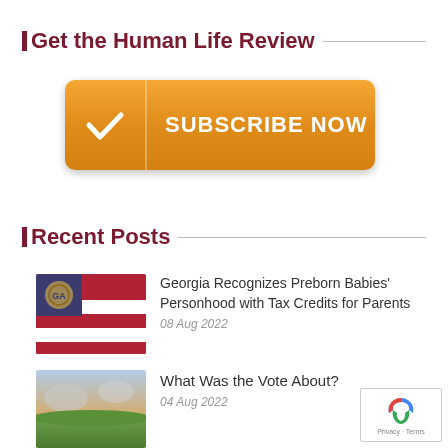Get the Human Life Review
[Figure (other): Orange Subscribe Now button with white checkmark]
Recent Posts
[Figure (photo): Georgia state flag thumbnail]
Georgia Recognizes Preborn Babies' Personhood with Tax Credits for Parents
08 Aug 2022
[Figure (photo): Green field landscape thumbnail]
What Was the Vote About?
04 Aug 2022